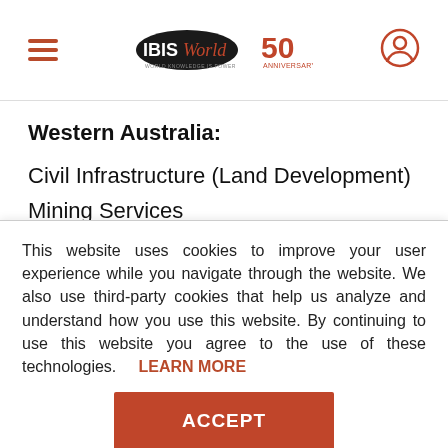IBISWorld 50th Anniversary header with hamburger menu and user icon
Western Australia:
Civil Infrastructure (Land Development)
Mining Services
Marine Infrastructure
This website uses cookies to improve your user experience while you navigate through the website. We also use third-party cookies that help us analyze and understand how you use this website. By continuing to use this website you agree to the use of these technologies. LEARN MORE
ACCEPT